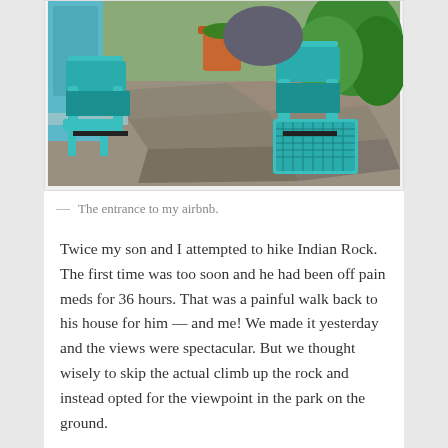[Figure (photo): Outdoor patio area with teal/turquoise metal garden chairs and a small table on flagstone pavement, with a blue door visible on the left, potted plants, and green shrubs on the right.]
— The entrance to my airbnb.
Twice my son and I attempted to hike Indian Rock. The first time was too soon and he had been off pain meds for 36 hours. That was a painful walk back to his house for him — and me! We made it yesterday and the views were spectacular. But we thought wisely to skip the actual climb up the rock and instead opted for the viewpoint in the park on the ground.
[Figure (photo): A partial view of a wooden structure with lattice or beamed ceiling, partially visible at the bottom of the page.]